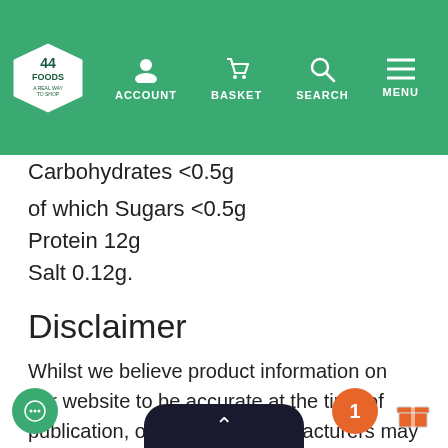44 FOODS | ACCOUNT | BASKET | SEARCH | MENU
Carbohydrates <0.5g
of which Sugars <0.5g
Protein 12g
Salt 0.12g.
Disclaimer
Whilst we believe product information on our website to be accurate at the time of publication, on occasion manufacturers may alter their ingredient lists. We recommend that you do not solely rely on the information on our website. Please always read the label, warnings, and